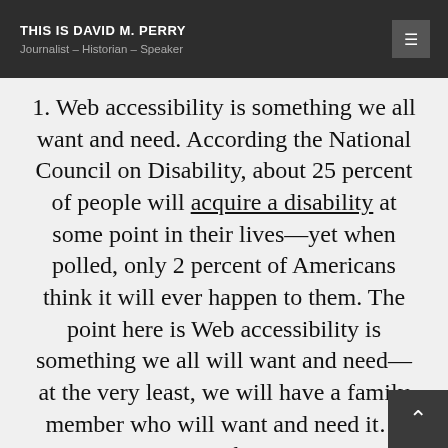THIS IS DAVID M. PERRY — Journalist – Historian – Speaker
Web accessibility is something we all want and need. According the National Council on Disability, about 25 percent of people will acquire a disability at some point in their lives—yet when polled, only 2 percent of Americans think it will ever happen to them. The point here is Web accessibility is something we all will want and need—at the very least, we will have a family member who will want and need it…Web